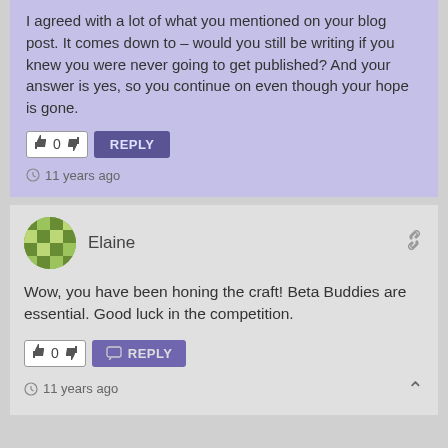I agreed with a lot of what you mentioned on your blog post. It comes down to – would you still be writing if you knew you were never going to get published? And your answer is yes, so you continue on even though your hope is gone.
0
REPLY
11 years ago
Elaine
Wow, you have been honing the craft! Beta Buddies are essential. Good luck in the competition.
0
REPLY
11 years ago